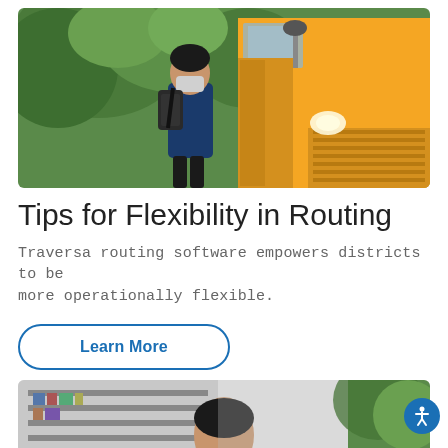[Figure (photo): A student wearing a face mask and carrying a backpack stands next to a yellow school bus door, with green trees in the background.]
Tips for Flexibility in Routing
Traversa routing software empowers districts to be more operationally flexible.
Learn More
[Figure (photo): Partial view of a person with dark hair, appearing to be seated, with bookshelves visible in the background on the left and green foliage on the right.]